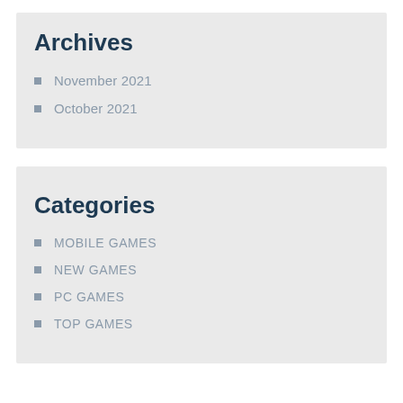Archives
November 2021
October 2021
Categories
MOBILE GAMES
NEW GAMES
PC GAMES
TOP GAMES